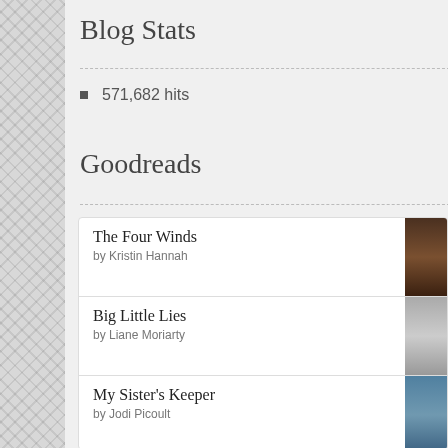Blog Stats
571,682 hits
Goodreads
The Four Winds by Kristin Hannah
Big Little Lies by Liane Moriarty
My Sister's Keeper by Jodi Picoult
City of Girls by Elizabeth Gilbert